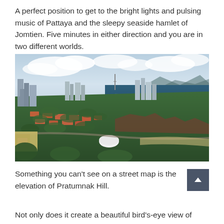A perfect position to get to the bright lights and pulsing music of Pattaya and the sleepy seaside hamlet of Jomtien. Five minutes in either direction and you are in two different worlds.
[Figure (photo): Aerial photograph of Pratumnak Hill area between Pattaya and Jomtien, showing a peninsula with urban development, red-roofed villas, trees, a white dome-shaped building, and the Gulf of Thailand on the right side with hilly coastline in the background.]
Something you can't see on a street map is the elevation of Pratumnak Hill.
Not only does it create a beautiful bird's-eye view of Pattaya B...